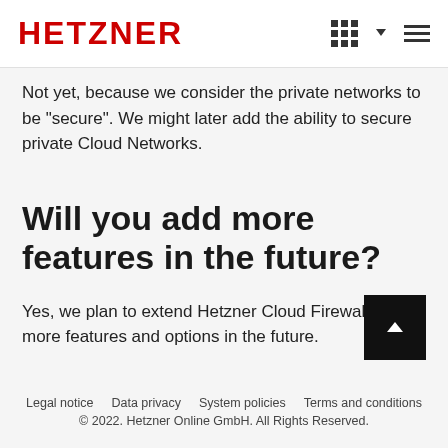HETZNER
Not yet, because we consider the private networks to be "secure". We might later add the ability to secure private Cloud Networks.
Will you add more features in the future?
Yes, we plan to extend Hetzner Cloud Firewalls with more features and options in the future.
Legal notice   Data privacy   System policies   Terms and conditions
© 2022. Hetzner Online GmbH. All Rights Reserved.